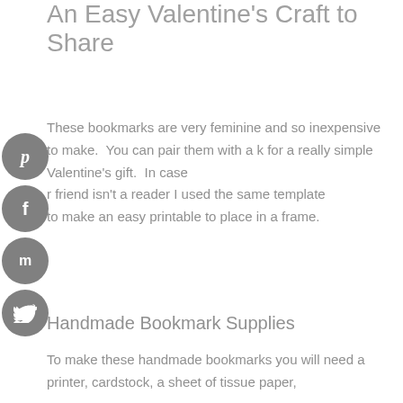An Easy Valentine's Craft to Share
These bookmarks are very feminine and so inexpensive to make.  You can pair them with a book for a really simple Valentine's gift.  In case your friend isn't a reader I used the same template to make an easy printable to place in a frame.
[Figure (infographic): Four circular social media sharing buttons stacked vertically on the left side: Pinterest (P), Facebook (f), Mix (m), Twitter bird icon. All buttons are dark gray circles with white icons.]
Handmade Bookmark Supplies
To make these handmade bookmarks you will need a printer, cardstock, a sheet of tissue paper,